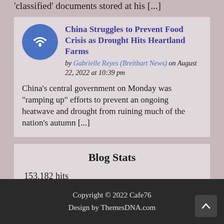'classified' documents stored at his [...]
China Struggles to Prevent Food Crisis as Drought Hits Heartland Farms
by Gabrielle Reyes (Breitbart News) on August 22, 2022 at 10:39 pm
China's central government on Monday was "ramping up" efforts to prevent an ongoing heatwave and drought from ruining much of the nation's autumn [...]
Blog Stats
153,182 hits
Copyright © 2022 Cafe76
Design by ThemesDNA.com